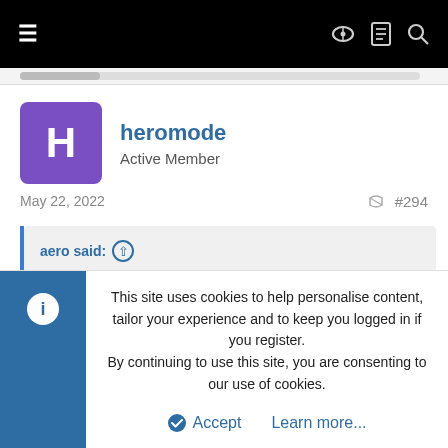Navigation bar with hamburger menu and icons
heromode
Active Member
May 22, 2022   #294
aero said:
For work, I only purchase SAS drives. For home, I only purchase SAS drives. There are no good reasons to go with SATA. If I ever accidentally got a SMR drive I'd punch someone in the face.
This site uses cookies to help personalise content, tailor your experience and to keep you logged in if you register.
By continuing to use this site, you are consenting to our use of cookies.
Accept   Learn more...